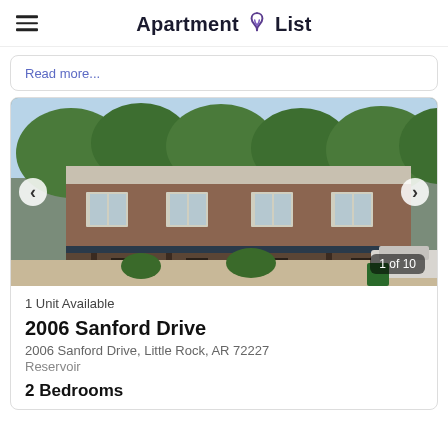Apartment List
Read more...
[Figure (photo): Exterior photo of a two-story brick apartment building with covered walkway, trees in background, parked car visible, image counter showing 1 of 10]
1 Unit Available
2006 Sanford Drive
2006 Sanford Drive, Little Rock, AR 72227
Reservoir
2 Bedrooms